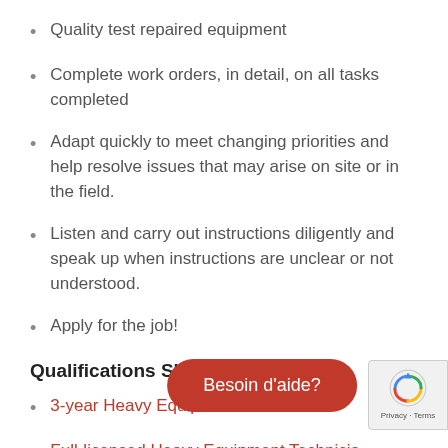Quality test repaired equipment
Complete work orders, in detail, on all tasks completed
Adapt quickly to meet changing priorities and help resolve issues that may arise on site or in the field.
Listen and carry out instructions diligently and speak up when instructions are unclear or not understood.
Apply for the job!
Qualifications Shop Positions:
3-year Heavy Equip…
Full-licensed Heavy Equipment Technician…